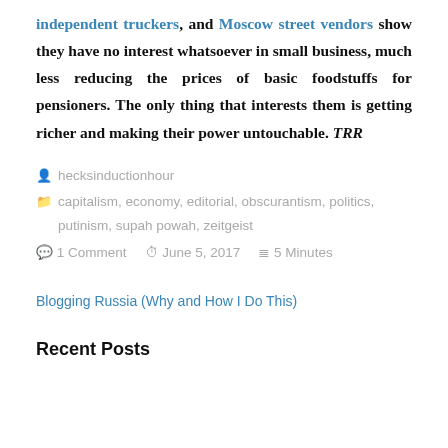independent truckers, and Moscow street vendors show they have no interest whatsoever in small business, much less reducing the prices of basic foodstuffs for pensioners. The only thing that interests them is getting richer and making their power untouchable. TRR
hecksinductionhour
capitalism, economy, editorial, obscurantism, politics, putinism, supah powah, zeitgeist
1 Comment   June 5, 2017   5 Minutes
Blogging Russia (Why and How I Do This)
Recent Posts